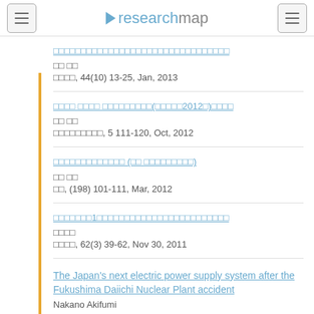researchmap
□□□□□□□□□□□□□□□□□□□□□□□□□□□□□□□□
□□ □□
□□□□, 44(10) 13-25, Jan, 2013
□□□□ □□□□ □□□□□□□□□(□□□□□2012□)□□□□
□□ □□
□□□□□□□□□, 5 111-120, Oct, 2012
□□□□□□□□□□□□□ (□□ □□□□□□□□□)
□□ □□
□□, (198) 101-111, Mar, 2012
□□□□□□□1□□□□□□□□□□□□□□□□□□□□□□□□
□□□□
□□□□, 62(3) 39-62, Nov 30, 2011
The Japan's next electric power supply system after the Fukushima Daiichi Nuclear Plant accident
Nakano Akifumi